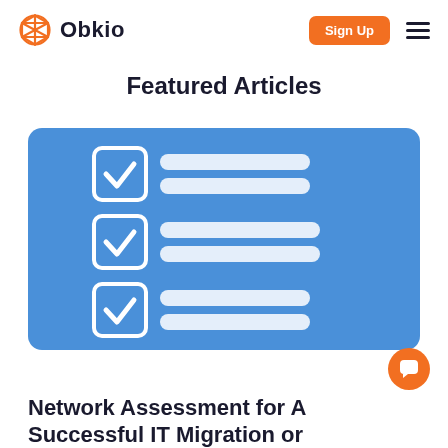Obkio
Featured Articles
[Figure (illustration): Blue rounded rectangle card containing three checklist rows, each row has a white checkbox with a checkmark on the left and two white rounded rectangle bars on the right, representing a checklist icon on a blue background.]
Network Assessment for A Successful IT Migration or